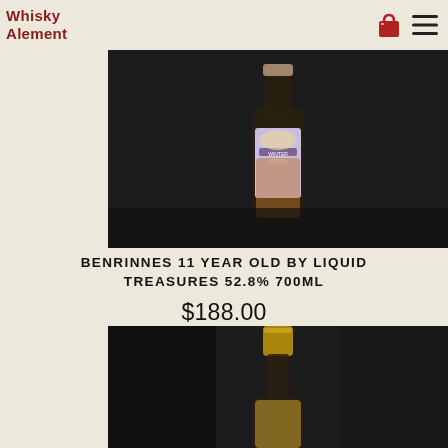Whisky Alement
[Figure (photo): Close-up photo of a whisky bottle with decorative label reading 'WINTER EDITION' on a dark background]
BENRINNES 11 YEAR OLD BY LIQUID TREASURES 52.8% 700ML
$188.00
[Figure (photo): Photo of a whisky bottle with gold foil cap and pale golden liquid visible, on a dark background]